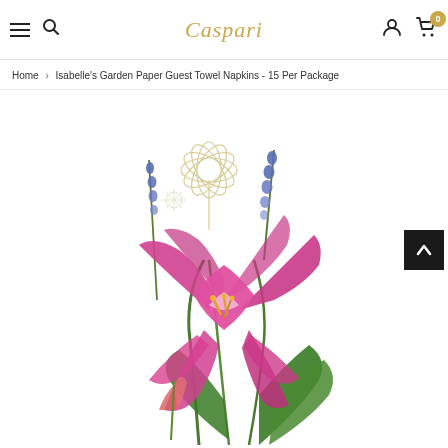Caspari — navigation bar with hamburger menu, search icon, logo, user icon, cart (0)
Home > Isabelle's Garden Paper Guest Towel Napkins - 15 Per Package
[Figure (photo): Product photo of Isabelle's Garden Paper Guest Towel Napkins showing a floral design with a large pink/magenta lily, purple grape hyacinths, green stems and leaves, and delicate outline flowers on a white background.]